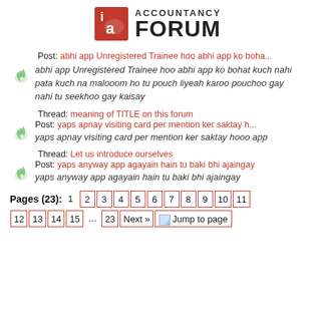[Figure (logo): Accountancy Forum logo with red 'ia' icon and bold FORUM text]
Post: abhi app Unregistered Trainee hoo abhi app ko boha...
abhi app Unregistered Trainee hoo abhi app ko bohat kuch nahi pata kuch na malooom ho tu pouch liyeah karoo pouchoo gay nahi tu seekhoo gay kaisay
Thread: meaning of TITLE on this forum
Post: yaps apnay visiting card per mention ker saktay h...
yaps apnay visiting card per mention ker saktay hooo app
Thread: Let us introduce ourselves
Post: yaps anyway app agayain hain tu baki bhi ajaingay
yaps anyway app agayain hain tu baki bhi ajaingay
Pages (23): 1 2 3 4 5 6 7 8 9 10 11 12 13 14 15 ... 23 Next » Jump to page